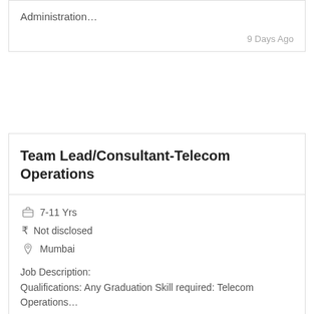Administration…
9 Days Ago
Team Lead/Consultant-Telecom Operations
7-11 Yrs
Not disclosed
Mumbai
Job Description:
Qualifications: Any Graduation Skill required: Telecom Operations…
9 Days Ago